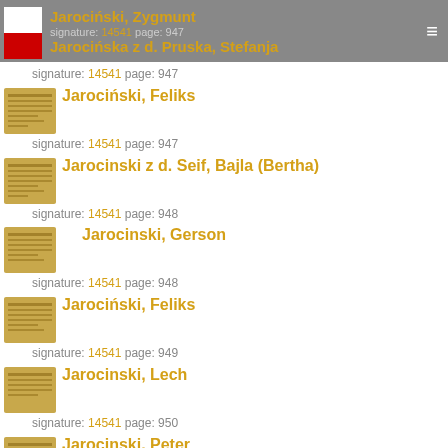Jarocinski, Zygmunt — Jarocinska z d. Pruska, Stefanja — signature: 14541 page: 947
Jarocinski, Feliks — signature: 14541 page: 947
Jarocinski z d. Seif, Bajla (Bertha) — signature: 14541 page: 948
Jarocinski, Gerson — signature: 14541 page: 948
Jarocinski, Feliks — signature: 14541 page: 949
Jarocinski, Lech — signature: 14541 page: 950
Jarocinski, Peter — signature: 14541 page: 951
Jarocinska, Apollonia — signature: 14541 page: 952
Jarocinska, Jadwiga — signature: 14541 page: 953
Jarosinska, Helena — signature: 14541 page: 955